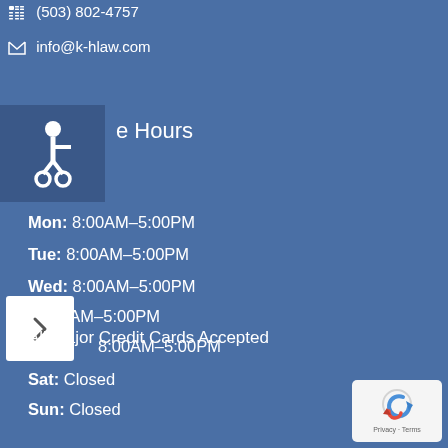(503) 802-4757
info@k-hlaw.com
e Hours
Mon: 8:00AM–5:00PM
Tue: 8:00AM–5:00PM
Wed: 8:00AM–5:00PM
: 8:00AM–5:00PM
8:00AM–5:00PM
Sat: Closed
Sun: Closed
All Major Credit Cards Accepted
[Figure (logo): reCAPTCHA badge with Privacy and Terms links]